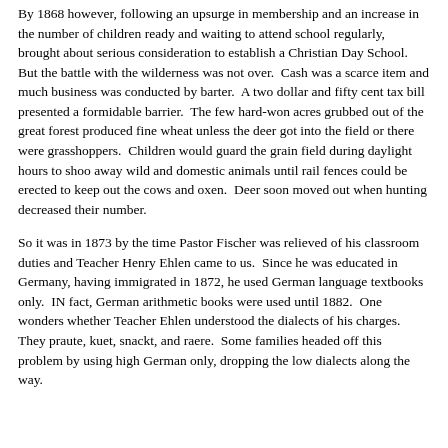By 1868 however, following an upsurge in membership and an increase in the number of children ready and waiting to attend school regularly, brought about serious consideration to establish a Christian Day School.  But the battle with the wilderness was not over.  Cash was a scarce item and much business was conducted by barter.  A two dollar and fifty cent tax bill presented a formidable barrier.  The few hard-won acres grubbed out of the great forest produced fine wheat unless the deer got into the field or there were grasshoppers.  Children would guard the grain field during daylight hours to shoo away wild and domestic animals until rail fences could be erected to keep out the cows and oxen.  Deer soon moved out when hunting decreased their number.
So it was in 1873 by the time Pastor Fischer was relieved of his classroom duties and Teacher Henry Ehlen came to us.  Since he was educated in Germany, having immigrated in 1872, he used German language textbooks only.  IN fact, German arithmetic books were used until 1882.  One wonders whether Teacher Ehlen understood the dialects of his charges.  They praute, kuet, snackt, and raere.  Some families headed off this problem by using high German only, dropping the low dialects along the way.